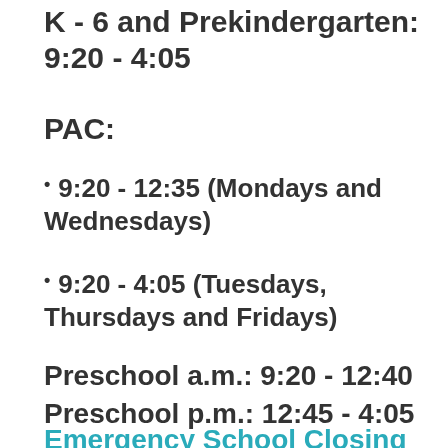K - 6 and Prekindergarten: 9:20 - 4:05
PAC:
9:20 - 12:35 (Mondays and Wednesdays)
9:20 - 4:05 (Tuesdays, Thursdays and Fridays)
Preschool a.m.: 9:20 - 12:40
Preschool p.m.: 12:45 - 4:05
Emergency School Closing